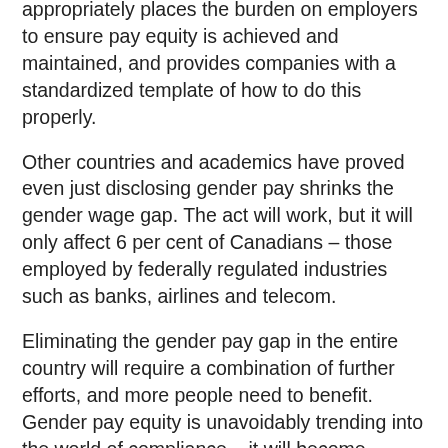done. This law is different because it is pro-active. It appropriately places the burden on employers to ensure pay equity is achieved and maintained, and provides companies with a standardized template of how to do this properly.
Other countries and academics have proved even just disclosing gender pay shrinks the gender wage gap. The act will work, but it will only affect 6 per cent of Canadians – those employed by federally regulated industries such as banks, airlines and telecom.
Eliminating the gender pay gap in the entire country will require a combination of further efforts, and more people need to benefit. Gender pay equity is unavoidably trending into the world of compliance – it will become regulated and legislated.
So why wait? COVID-19 has exacerbated gender inequities and set many companies back in their